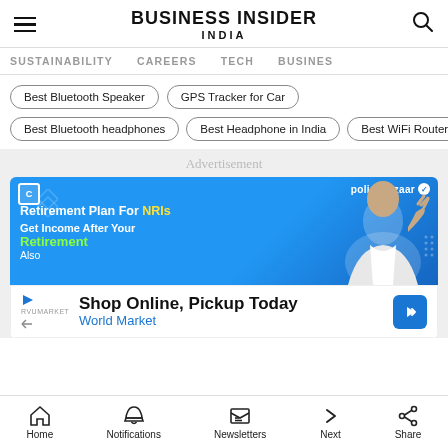BUSINESS INSIDER INDIA
SUSTAINABILITY | CAREERS | TECH | BUSINESS
Best Bluetooth Speaker
GPS Tracker for Car
Best Bluetooth headphones
Best Headphone in India
Best WiFi Routers
Advertisement
[Figure (screenshot): Policybazaar advertisement banner - Retirement Plan For NRIs, Get Income After Your Retirement Also, featuring a man in white suit]
[Figure (screenshot): Shop Online, Pickup Today - World Market advertisement banner]
Home | Notifications | Newsletters | Next | Share